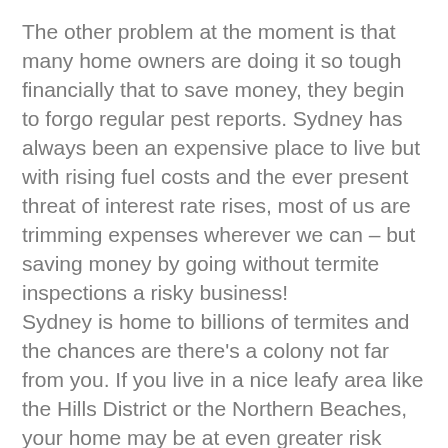The other problem at the moment is that many home owners are doing it so tough financially that to save money, they begin to forgo regular pest reports. Sydney has always been an expensive place to live but with rising fuel costs and the ever present threat of interest rate rises, most of us are trimming expenses wherever we can – but saving money by going without termite inspections a risky business! Sydney is home to billions of termites and the chances are there's a colony not far from you. If you live in a nice leafy area like the Hills District or the Northern Beaches, your home may be at even greater risk than average. Termites don't have to be in your back yard to pose a threat. Termites attack homes up to a radius of 100 metres around their colony.
Termite colonies can be hard to locate as they're generally concealed either in the ground, or in a stump or